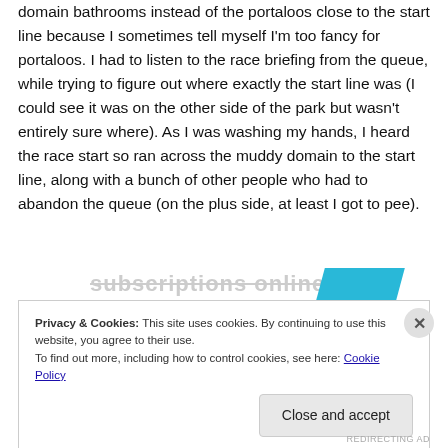domain bathrooms instead of the portaloos close to the start line because I sometimes tell myself I'm too fancy for portaloos. I had to listen to the race briefing from the queue, while trying to figure out where exactly the start line was (I could see it was on the other side of the park but wasn't entirely sure where). As I was washing my hands, I heard the race start so ran across the muddy domain to the start line, along with a bunch of other people who had to abandon the queue (on the plus side, at least I got to pee).
[Figure (screenshot): Partially visible 'subscriptions online' text with a cyan/blue parallelogram shape overlapping it on the right]
Privacy & Cookies: This site uses cookies. By continuing to use this website, you agree to their use.
To find out more, including how to control cookies, see here: Cookie Policy
Close and accept
REDIRECTING AD